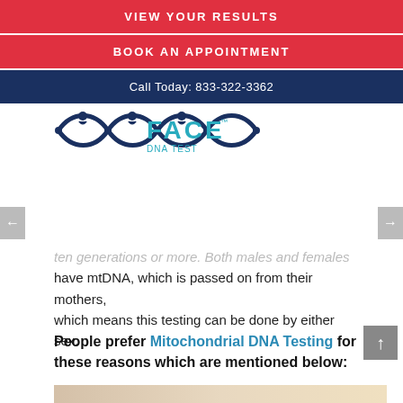VIEW YOUR RESULTS
BOOK AN APPOINTMENT
Call Today: 833-322-3362
[Figure (logo): Face DNA Test logo with DNA double-helix graphic and teal FACE DNA TEST text]
ten generations or more. Both males and females have mtDNA, which is passed on from their mothers, which means this testing can be done by either sex.
People prefer Mitochondrial DNA Testing for these reasons which are mentioned below:
[Figure (photo): Partial image of a baby with feet and head visible, soft background]